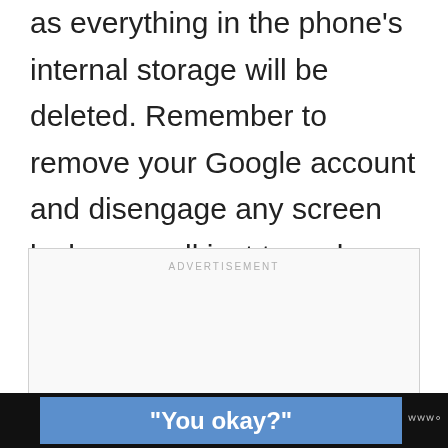as everything in the phone's internal storage will be deleted. Remember to remove your Google account and disengage any screen locks as well just to make sure that Factory Reset Protection (FRP) won't be tripped.
[Figure (other): Advertisement placeholder box with 'ADVERTISEMENT' label at the top center]
[Figure (screenshot): Bottom banner ad bar with dark background. Blue section with bold white text reading '"You okay?"' and a small logo area on the right.]